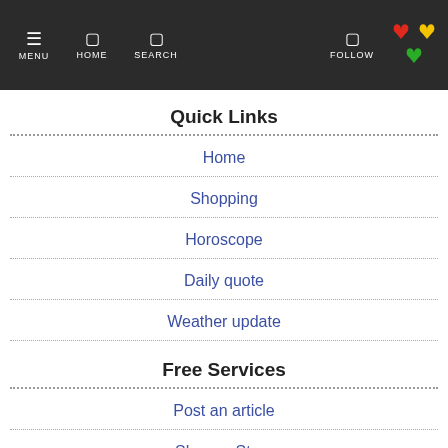MENU  HOME  SEARCH  FOLLOW
Quick Links
Home
Shopping
Horoscope
Daily quote
Weather update
Free Services
Post an article
Share a Story
Post an event